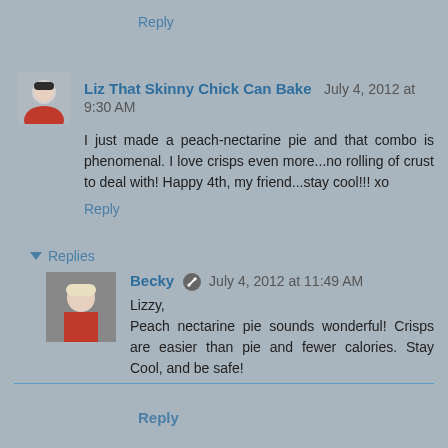Reply
Liz That Skinny Chick Can Bake  July 4, 2012 at 9:30 AM
I just made a peach-nectarine pie and that combo is phenomenal. I love crisps even more...no rolling of crust to deal with! Happy 4th, my friend...stay cool!!! xo
Reply
Replies
Becky  July 4, 2012 at 11:49 AM
Lizzy,
Peach nectarine pie sounds wonderful! Crisps are easier than pie and fewer calories. Stay Cool, and be safe!
Reply